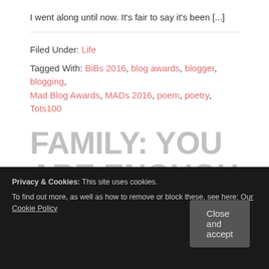I went along until now. It's fair to say it's been [...]
Filed Under: Life
Tagged With: BiBs 2016, blog awards, blogger, blogging, Mad Blog Awards, MADs 2016, poem, poetry, Tots100
FAMILY: YOU ARE ENOUGH (A MANTRA FOR MOTHERS)
Privacy & Cookies: This site uses cookies. To find out more, as well as how to remove or block these, see here: Our Cookie Policy
Close and accept